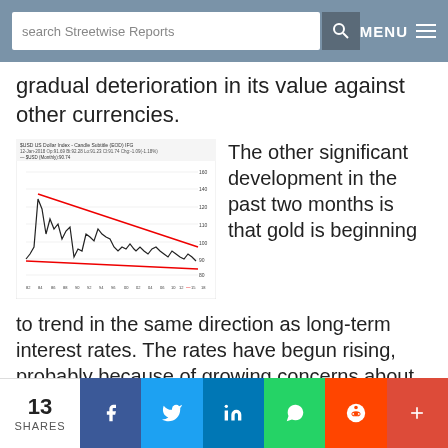search Streetwise Reports | MENU
gradual deterioration in its value against other currencies.
[Figure (continuous-plot): $USD US Dollar Index – Candle Subtitle chart showing long-term trend with declining channel marked by red trendlines from early highs down to recent levels around 90-95. X-axis shows years from approximately 1982 to 2018. Y-axis shows values roughly 80 to 160.]
The other significant development in the past two months is that gold is beginning to trend in the same direction as long-term interest rates. The rates have begun rising, probably because of growing concerns about the return of inflation. The chart below tracks the yield on the U.S. 10 year Treasury note while the gold line represents the gold price.
13 SHARES | f | t | in | WhatsApp | Reddit | +